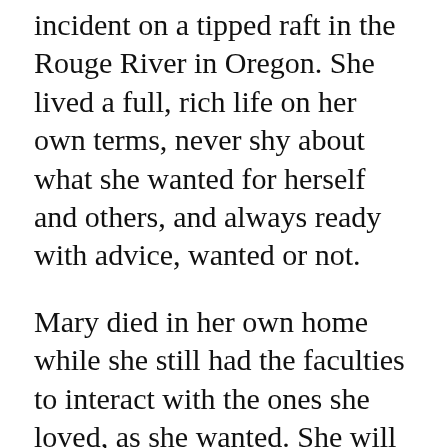incident on a tipped raft in the Rouge River in Oregon. She lived a full, rich life on her own terms, never shy about what she wanted for herself and others, and always ready with advice, wanted or not.
Mary died in her own home while she still had the faculties to interact with the ones she loved, as she wanted. She will be deeply missed and felt daily in the hearts and minds of those she left behind.